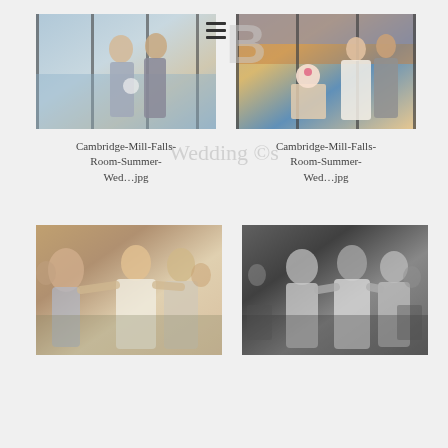[Figure (photo): Wedding couple standing by large windows near a waterfront, woman in grey dress holding bouquet, man in grey suit]
Cambridge-Mill-Falls-Room-Summer-Wed…jpg
[Figure (photo): Bride and groom cutting wedding cake with cupcakes, sunset city view behind them through large windows]
Cambridge-Mill-Falls-Room-Summer-Wed…jpg
[Figure (photo): Color photo of wedding guests dancing at reception, bride in white dress dancing with bridesmaids in grey]
[Figure (photo): Black and white photo of wedding guests dancing at reception, similar scene to adjacent color photo]